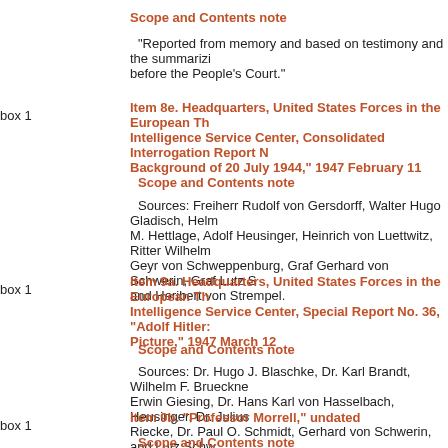Scope and Contents note
"Reported from memory and based on testimony and the summarizi before the People's Court."
box 1
Item 8e. Headquarters, United States Forces in the European Th Intelligence Service Center, Consolidated Interrogation Report N Background of 20 July 1944," 1947 February 11
Scope and Contents note
Sources: Freiherr Rudolf von Gersdorff, Walter Hugo Gladisch, Helm M. Hettlage, Adolf Heusinger, Heinrich von Luettwitz, Ritter Wilhelm Geyr von Schweppenburg, Graf Gerhard von Schwerin, Graf Lutz S and Heribert von Strempel.
box 1
Item 9a. Headquarters, United States Forces in the European Th Intelligence Service Center, Special Report No. 36, "Adolf Hitler: Picture," 1947 March 12
Scope and Contents note
Sources: Dr. Hugo J. Blaschke, Dr. Karl Brandt, Wilhelm F. Brueckne Erwin Giesing, Dr. Hans Karl von Hasselbach, Heusinger, Dr. Julius Riecke, Dr. Paul O. Schmidt, Gerhard von Schwerin, and Lutz Schw
box 1
Item 9b. "Professor Morrell," undated
Scope and Contents note